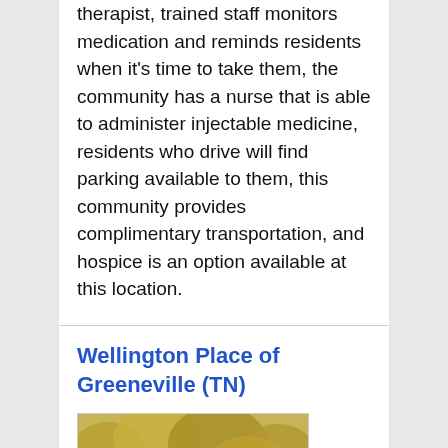therapist, trained staff monitors medication and reminds residents when it's time to take them, the community has a nurse that is able to administer injectable medicine, residents who drive will find parking available to them, this community provides complimentary transportation, and hospice is an option available at this location.
Wellington Place of Greeneville (TN)
[Figure (photo): Two elderly people seen from behind sitting on a wooden bench in a park with autumn foliage trees in the background]